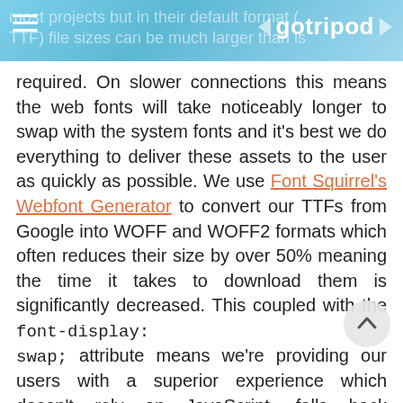most projects but in their default format (TTF) file sizes can be much larger than is required. — gotripod
required. On slower connections this means the web fonts will take noticeably longer to swap with the system fonts and it's best we do everything to deliver these assets to the user as quickly as possible. We use Font Squirrel's Webfont Generator to convert our TTFs from Google into WOFF and WOFF2 formats which often reduces their size by over 50% meaning the time it takes to download them is significantly decreased. This coupled with the font-display: swap; attribute means we're providing our users with a superior experience which doesn't rely on JavaScript, falls back gracefully and will soon be supported by all major browsers.